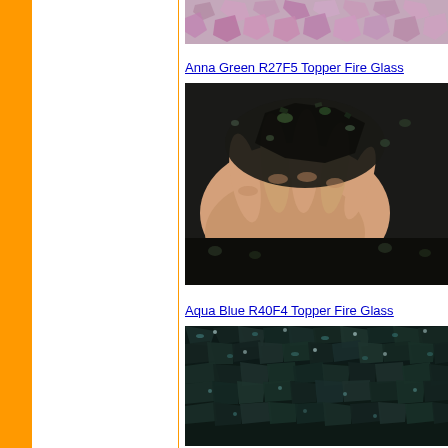[Figure (photo): Top partial image of purple/pink fire glass pieces close-up]
Anna Green R27F5 Topper Fire Glass
[Figure (photo): Hand holding dark green/black fire glass pieces]
Aqua Blue R40F4 Topper Fire Glass
[Figure (photo): Close-up of dark aqua blue fire glass pieces spread out]